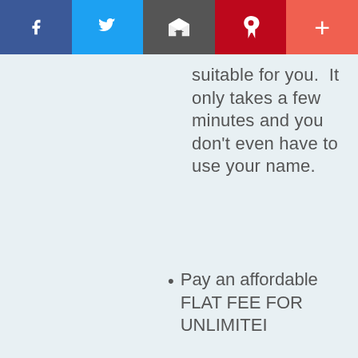Social share toolbar with Facebook, Twitter, Mail, Pinterest, and Plus buttons
suitable for you.  It only takes a few minutes and you don't even have to use your name.
Pay an affordable FLAT FEE FOR UNLIMITED